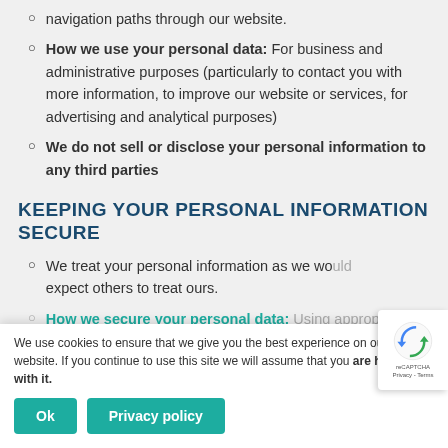navigation paths through our website.
How we use your personal data: For business and administrative purposes (particularly to contact you with more information, to improve our website or services, for advertising and analytical purposes)
We do not sell or disclose your personal information to any third parties
KEEPING YOUR PERSONAL INFORMATION SECURE
We treat your personal information as we would expect others to treat ours.
How we secure your personal data: Using appropriate technical and organisational measures such as [encrypting] all data we collect through forms on our website and storing such data on secure servers. We only grant access to
We use cookies to ensure that we give you the best experience on our website. If you continue to use this site we will assume that you are happy with it.